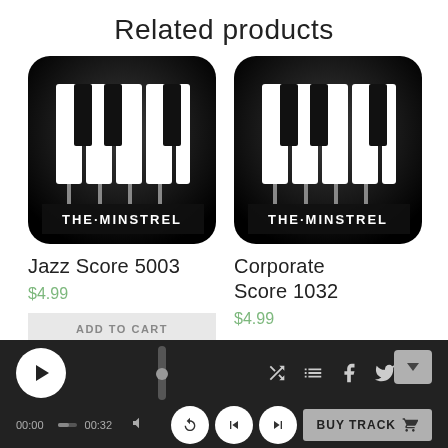Related products
[Figure (logo): Piano keyboard logo with THE·MINSTREL text, black rounded square background]
Jazz Score 5003
$4.99
ADD TO CART
[Figure (logo): Piano keyboard logo with THE·MINSTREL text, black rounded square background]
Corporate Score 1032
$4.99
[Figure (screenshot): Audio player bar at bottom: play button, progress bar showing 00:00 / 00:32, shuffle/playlist/facebook/twitter/share icons, replay/skip-back/skip-forward controls, BUY TRACK button]